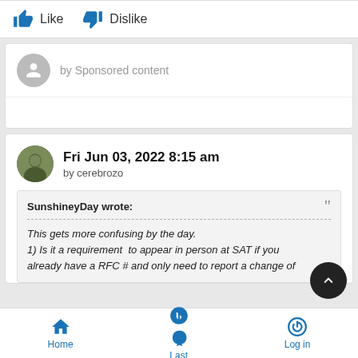[Figure (screenshot): Like and Dislike buttons with thumbs up and thumbs down icons]
by Sponsored content
Fri Jun 03, 2022 8:15 am
by cerebrozo
SunshineyDay wrote:
This gets more confusing by the day.
1) Is it a requirement  to appear in person at SAT if you already have a RFC # and only need to report a change of
Home  Last  Log in